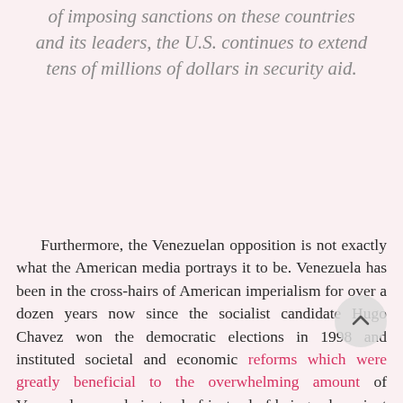of imposing sanctions on these countries and its leaders, the U.S. continues to extend tens of millions of dollars in security aid.
Furthermore, the Venezuelan opposition is not exactly what the American media portrays it to be. Venezuela has been in the cross-hairs of American imperialism for over a dozen years now since the socialist candidate Hugo Chavez won the democratic elections in 1998 and instituted societal and economic reforms which were greatly beneficial to the overwhelming amount of Venezuelan people instead of instead of being subservient to foreign national oil companies. The intense animosity the U.S. establishment held for Chavez was evidenced by the unrestrained tide of glee that met the news of his death in the corporate media. A decade prior to his death, the U.S. secretly organized a